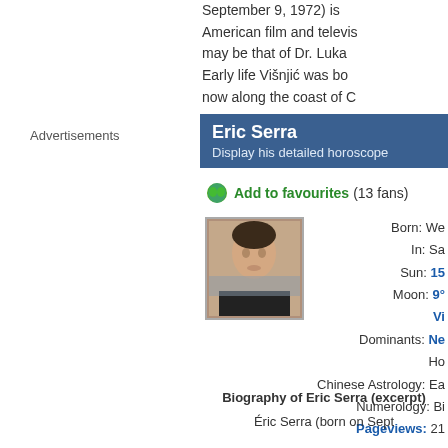September 9, 1972) is American film and televis may be that of Dr. Luka Early life Višnjić was bo now along the coast of C
Advertisements
Eric Serra
Display his detailed horoscope
Add to favourites (13 fans)
[Figure (photo): Photo of Eric Serra, a man in dark clothing]
Born: We
In: Sa
Sun: 15
Moon: 9°
Vi
Dominants: Ne
Ho
Chinese Astrology: Ea
Numerology: Bi
Pageviews: 21
Biography of Eric Serra (excerpt)
Éric Serra (born on Sept